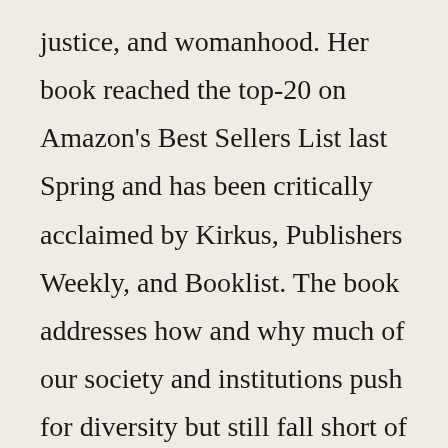justice, and womanhood. Her book reached the top-20 on Amazon's Best Sellers List last Spring and has been critically acclaimed by Kirkus, Publishers Weekly, and Booklist. The book addresses how and why much of our society and institutions push for diversity but still fall short of their goals. Austin uses her own stories and experiences to engage one in the complexities of social class, race, schools, businesses, prisons and more. Austin's